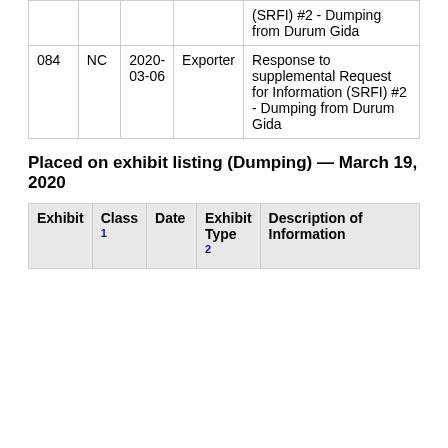| Exhibit | Class 1 | Date | Exhibit Type 2 | Description of Information |
| --- | --- | --- | --- | --- |
|  |  |  |  | (SRFI) #2 - Dumping from Durum Gida |
| 084 | NC | 2020-03-06 | Exporter | Response to supplemental Request for Information (SRFI) #2 - Dumping from Durum Gida |
Placed on exhibit listing (Dumping) — March 19, 2020
| Exhibit | Class 1 | Date | Exhibit Type 2 | Description of Information |
| --- | --- | --- | --- | --- |